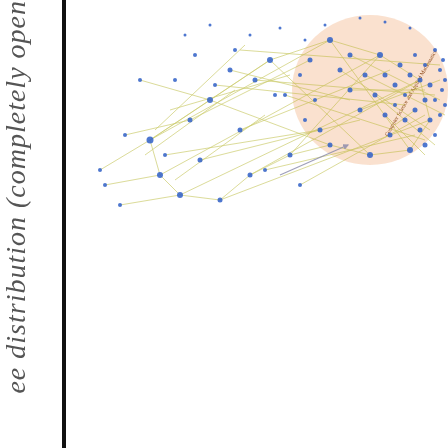[Figure (network-graph): A network graph showing interconnected nodes (blue dots) connected by edges (yellow-green lines), with a highlighted cluster region labeled 'Computer Science and Applied Mathematics' in the upper right area with a peach/salmon colored background ellipse.]
ee distribution (completely open